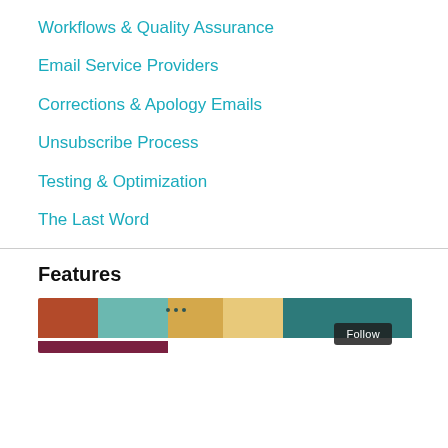Workflows & Quality Assurance
Email Service Providers
Corrections & Apology Emails
Unsubscribe Process
Testing & Optimization
The Last Word
Features
[Figure (illustration): Colorful illustration banner with teal, orange, yellow and dark teal segments, showing decorative dots. A 'Follow' button appears at bottom right. A dark red/maroon strip is partially visible below.]